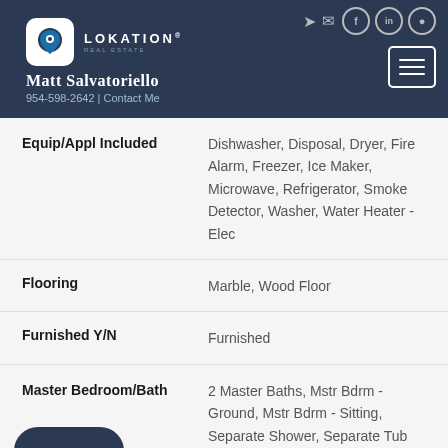Lokation Real Estate — Matt Salvatoriello — 954-598-2642 | Contact Me
| Field | Value |
| --- | --- |
| Equip/Appl Included | Dishwasher, Disposal, Dryer, Fire Alarm, Freezer, Ice Maker, Microwave, Refrigerator, Smoke Detector, Washer, Water Heater - Elec |
| Flooring | Marble, Wood Floor |
| Furnished Y/N | Furnished |
| Master Bedroom/Bath | 2 Master Baths, Mstr Bdrm - Ground, Mstr Bdrm - Sitting, Separate Shower, Separate Tub |